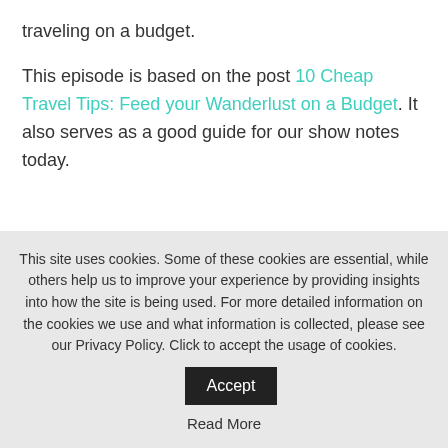traveling on a budget.
This episode is based on the post 10 Cheap Travel Tips: Feed your Wanderlust on a Budget. It also serves as a good guide for our show notes today.
This site uses cookies. Some of these cookies are essential, while others help us to improve your experience by providing insights into how the site is being used. For more detailed information on the cookies we use and what information is collected, please see our Privacy Policy. Click to accept the usage of cookies.
Read More